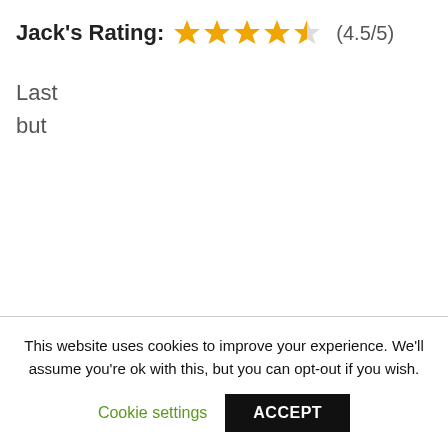Jack's Rating: (4.5/5)
Last
but
This website uses cookies to improve your experience. We'll assume you're ok with this, but you can opt-out if you wish.
Cookie settings | ACCEPT